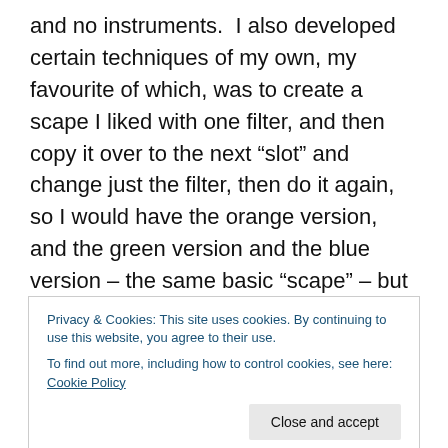and no instruments.  I also developed certain techniques of my own, my favourite of which, was to create a scape I liked with one filter, and then copy it over to the next “slot” and change just the filter, then do it again, so I would have the orange version, and the green version and the blue version – the same basic “scape” – but through completely different filters.  I would often record these one after the other, and it’s truly interesting to hear the differences between the filters (those being the tools on the right hand side of the palette, that seem to control what is done to the whole piece, so I call them “filters” – and that’s another
Privacy & Cookies: This site uses cookies. By continuing to use this website, you agree to their use.
To find out more, including how to control cookies, see here: Cookie Policy
did was a remarkable time – to have produced 1100